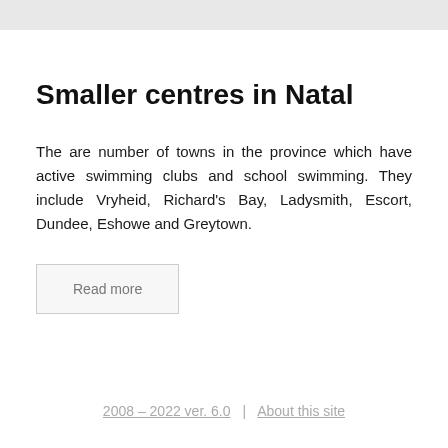Smaller centres in Natal
The are number of towns in the province which have active swimming clubs and school swimming. They include Vryheid, Richard's Bay, Ladysmith, Escort, Dundee, Eshowe and Greytown.
Read more
2008 – 2022 ver. 6.0 | About this site